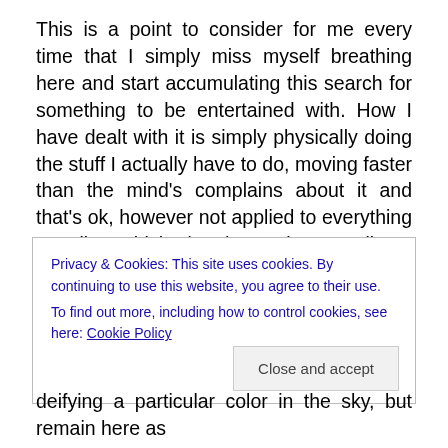This is a point to consider for me every time that I simply miss myself breathing here and start accumulating this search for something to be entertained with. How I have dealt with it is simply physically doing the stuff I actually have to do, moving faster than the mind's complains about it and that's ok, however not applied to everything equally, which is the point to direct. However, I also have learned not to condemn everything that I would do for a moment of
Privacy & Cookies: This site uses cookies. By continuing to use this website, you agree to their use.
To find out more, including how to control cookies, see here: Cookie Policy
deifying a particular color in the sky, but remain here as